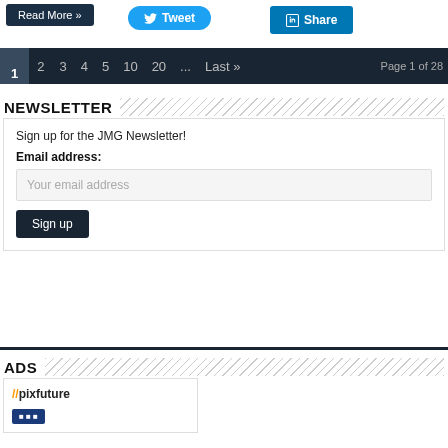[Figure (screenshot): Read More button, Tweet button, and LinkedIn Share button]
1  2  3  4  5  10  20  ...  Last »  Page 1 of 28
NEWSLETTER
Sign up for the JMG Newsletter!
Email address:
Your email address
Sign up
ADS
[Figure (logo): //pixfuture logo with pencil icon and blue button]